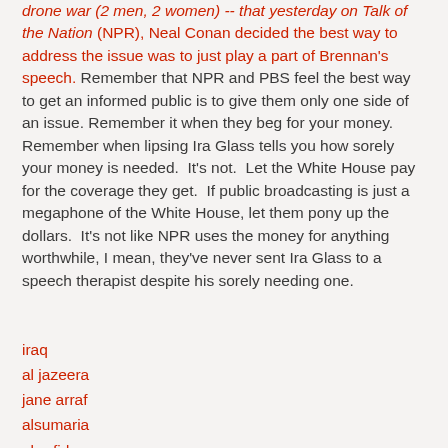drone war (2 men, 2 women) -- that yesterday on Talk of the Nation (NPR), Neal Conan decided the best way to address the issue was to just play a part of Brennan's speech. Remember that NPR and PBS feel the best way to get an informed public is to give them only one side of an issue. Remember it when they beg for your money. Remember when lipsing Ira Glass tells you how sorely your money is needed. It's not. Let the White House pay for the coverage they get. If public broadcasting is just a megaphone of the White House, let them pony up the dollars. It's not like NPR uses the money for anything worthwhile, I mean, they've never sent Ira Glass to a speech therapist despite his sorely needing one.
iraq
al jazeera
jane arraf
alsumaria
al-rafidayn